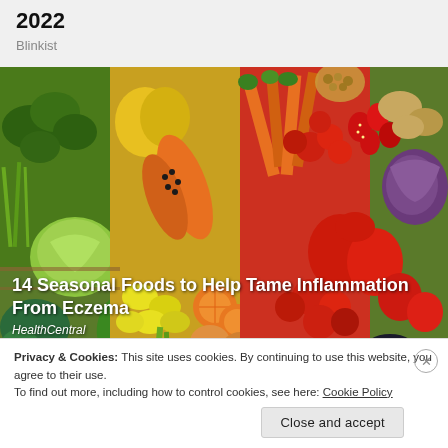The 5 Books to Read to Transform Your Life in 2022
Blinkist
[Figure (photo): A colorful spread of fresh fruits and vegetables including broccoli, cabbage, yellow peppers, papaya, carrots, tomatoes, red bell peppers, oranges, lemons, strawberries, red cabbage, and various other produce arranged on a wooden surface.]
14 Seasonal Foods to Help Tame Inflammation From Eczema
HealthCentral
Privacy & Cookies: This site uses cookies. By continuing to use this website, you agree to their use.
To find out more, including how to control cookies, see here: Cookie Policy
Close and accept